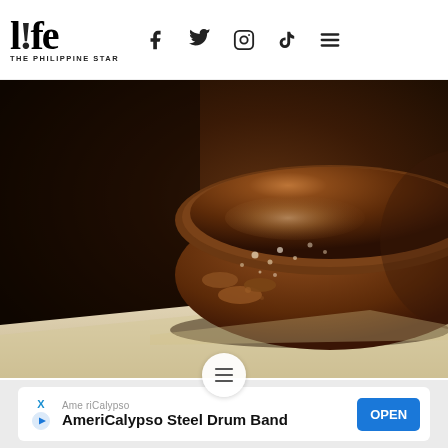l!fe THE PHILIPPINE STAR
[Figure (photo): Close-up macro photo of a chocolate cake or brownie with glossy chocolate ganache, dark background, warm tones]
[Figure (other): Advertisement banner: AmeriCalypso Steel Drum Band with OPEN button]